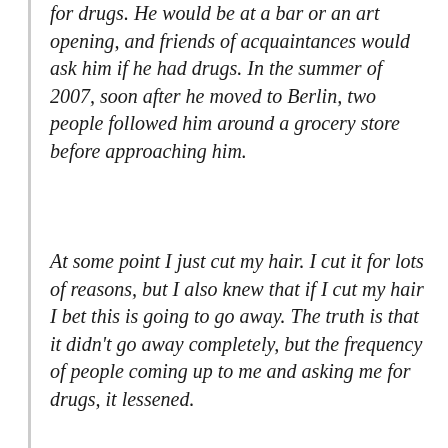for drugs. He would be at a bar or an art opening, and friends of acquaintances would ask him if he had drugs. In the summer of 2007, soon after he moved to Berlin, two people followed him around a grocery store before approaching him.
At some point I just cut my hair. I cut it for lots of reasons, but I also knew that if I cut my hair I bet this is going to go away. The truth is that it didn't go away completely, but the frequency of people coming up to me and asking me for drugs, it lessened.